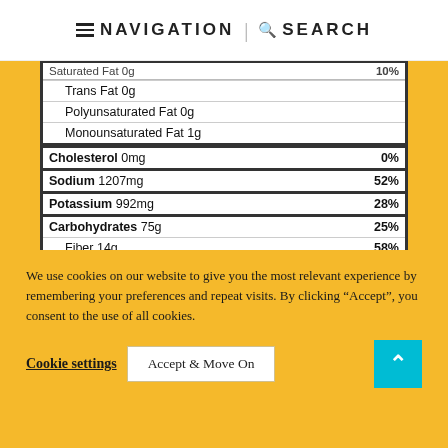≡ NAVIGATION | 🔍 SEARCH
| Nutrient | Amount | %DV |
| --- | --- | --- |
| Saturated Fat 0g |  | 10% |
| Trans Fat 0g |  |  |
| Polyunsaturated Fat 0g |  |  |
| Monounsaturated Fat 1g |  |  |
| Cholesterol 0mg |  | 0% |
| Sodium 1207mg |  | 52% |
| Potassium 992mg |  | 28% |
| Carbohydrates 75g |  | 25% |
| Fiber 14g |  | 58% |
| Sugar 8g |  | 9% |
| Protein 15g |  | 30% |
| Vitamin A 5238IU |  | 105% |
We use cookies on our website to give you the most relevant experience by remembering your preferences and repeat visits. By clicking “Accept”, you consent to the use of all cookies.
Cookie settings | Accept & Move On